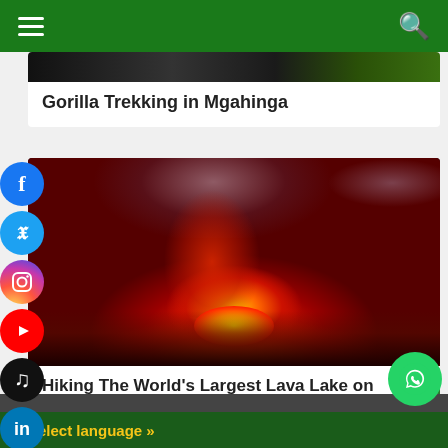Navigation bar with hamburger menu and search icon
[Figure (photo): Partial photo of a gorilla in a dark and green jungle setting]
Gorilla Trekking in Mgahinga
[Figure (photo): Photo of lava lake on Mount Nyiragongo at night, glowing red and orange with smoke]
Hiking The World’s Largest Lava Lake on Mount Nyiragongo
[Figure (illustration): Social media icons: Facebook, Twitter, Instagram, YouTube, TikTok, LinkedIn]
[Figure (infographic): Scroll to top button (green with up arrow)]
[Figure (infographic): WhatsApp floating chat button (green circle with phone icon)]
Select language »